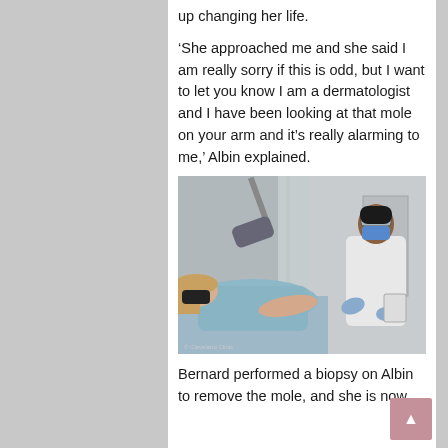up changing her life.
‘She approached me and she said I am really sorry if this is odd, but I want to let you know I am a dermatologist and I have been looking at that mole on your arm and it’s really alarming to me,’ Albin explained.
[Figure (photo): A patient lying on an examination table wearing a black mask, with a doctor in a white coat, blue gloves, protective glasses and a blue face mask examining her arm. Medical equipment visible in background. © Cleveland Clinic watermark.]
Bernard performed a biopsy on Albin to remove the mole, and she is now